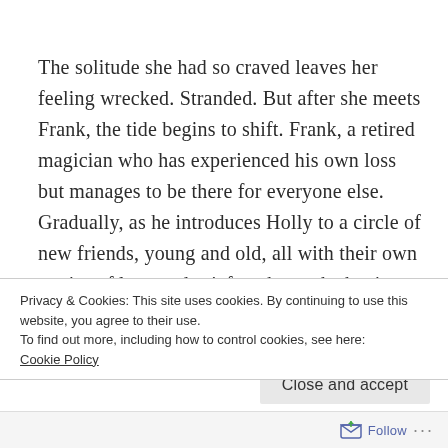The solitude she had so craved leaves her feeling wrecked. Stranded. But after she meets Frank, the tide begins to shift. Frank, a retired magician who has experienced his own loss but manages to be there for everyone else. Gradually, as he introduces Holly to a circle of new friends, young and old, all with their own stories of love and grief to share, she begins to learn to live again.
Privacy & Cookies: This site uses cookies. By continuing to use this website, you agree to their use.
To find out more, including how to control cookies, see here: Cookie Policy
Close and accept
Follow ···